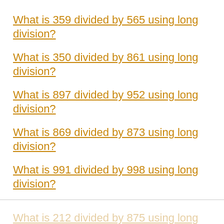What is 359 divided by 565 using long division?
What is 350 divided by 861 using long division?
What is 897 divided by 952 using long division?
What is 869 divided by 873 using long division?
What is 991 divided by 998 using long division?
What is 212 divided by 875 using long division?